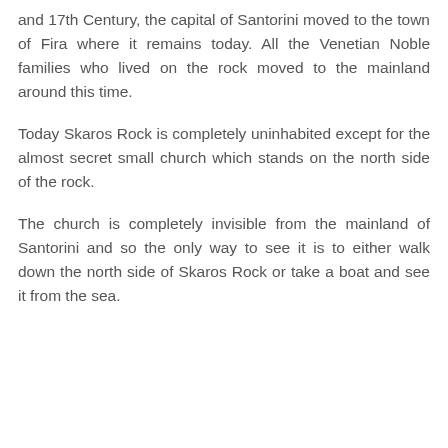and 17th Century, the capital of Santorini moved to the town of Fira where it remains today. All the Venetian Noble families who lived on the rock moved to the mainland around this time.
Today Skaros Rock is completely uninhabited except for the almost secret small church which stands on the north side of the rock.
The church is completely invisible from the mainland of Santorini and so the only way to see it is to either walk down the north side of Skaros Rock or take a boat and see it from the sea.